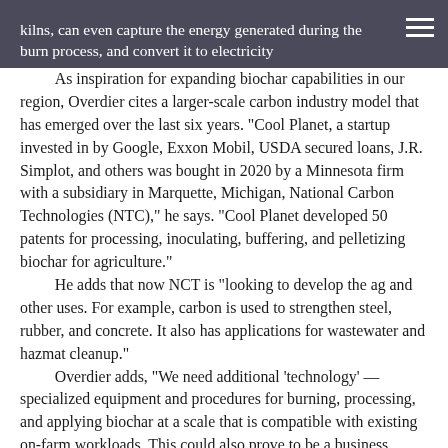kilns, can even capture the energy generated during the burn process, and convert it to electricity
As inspiration for expanding biochar capabilities in our region, Overdier cites a larger-scale carbon industry model that has emerged over the last six years. "Cool Planet, a startup invested in by Google, Exxon Mobil, USDA secured loans, J.R. Simplot, and others was bought in 2020 by a Minnesota firm with a subsidiary in Marquette, Michigan, National Carbon Technologies (NTC)," he says. "Cool Planet developed 50 patents for processing, inoculating, buffering, and pelletizing biochar for agriculture."
He adds that now NCT is “looking to develop the ag and other uses. For example, carbon is used to strengthen steel, rubber, and concrete. It also has applications for wastewater and hazmat cleanup.”
Overdier adds, “We need additional ‘technology’ — specialized equipment and procedures for burning, processing, and applying biochar at a scale that is compatible with existing on-farm workloads. This could also prove to be a business